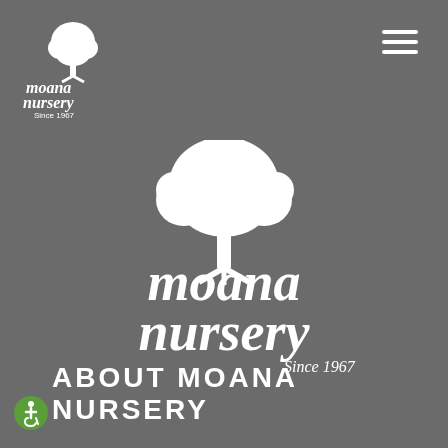[Figure (logo): Moana Nursery small logo with tree icon and text 'moana nursery Since 1967' in white, top left corner]
[Figure (logo): Large Moana Nursery logo centered on page: white tree illustration above white script text 'moana nursery' with 'Since 1967' below in serif font]
ABOUT MOANA NURSERY
[Figure (illustration): Green circular accessibility icon with white wheelchair user symbol, bottom left corner]